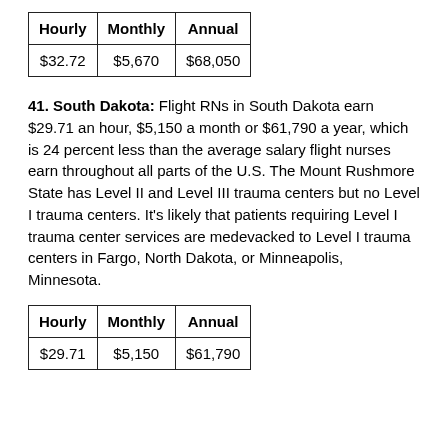| Hourly | Monthly | Annual |
| --- | --- | --- |
| $32.72 | $5,670 | $68,050 |
41. South Dakota: Flight RNs in South Dakota earn $29.71 an hour, $5,150 a month or $61,790 a year, which is 24 percent less than the average salary flight nurses earn throughout all parts of the U.S. The Mount Rushmore State has Level II and Level III trauma centers but no Level I trauma centers. It's likely that patients requiring Level I trauma center services are medevacked to Level I trauma centers in Fargo, North Dakota, or Minneapolis, Minnesota.
| Hourly | Monthly | Annual |
| --- | --- | --- |
| $29.71 | $5,150 | $61,790 |